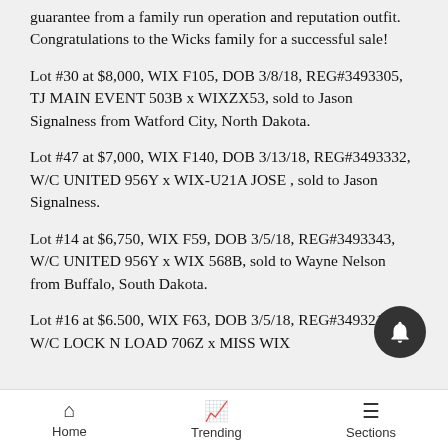guarantee from a family run operation and reputation outfit. Congratulations to the Wicks family for a successful sale!
Lot #30 at $8,000, WIX F105, DOB 3/8/18, REG#3493305, TJ MAIN EVENT 503B x WIXZX53, sold to Jason Signalness from Watford City, North Dakota.
Lot #47 at $7,000, WIX F140, DOB 3/13/18, REG#3493332, W/C UNITED 956Y x WIX-U21A JOSE , sold to Jason Signalness.
Lot #14 at $6,750, WIX F59, DOB 3/5/18, REG#3493343, W/C UNITED 956Y x WIX 568B, sold to Wayne Nelson from Buffalo, South Dakota.
Lot #16 at $6.500, WIX F63, DOB 3/5/18, REG#3493212, W/C LOCK N LOAD 706Z x MISS WIX
Home   Trending   Sections